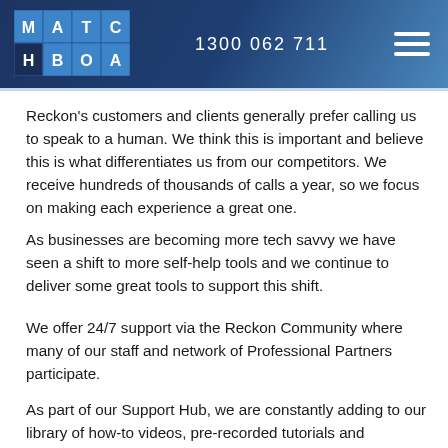MATCHBOARD | 1300 062 711
Reckon's customers and clients generally prefer calling us to speak to a human. We think this is important and believe this is what differentiates us from our competitors. We receive hundreds of thousands of calls a year, so we focus on making each experience a great one.
As businesses are becoming more tech savvy we have seen a shift to more self-help tools and we continue to deliver some great tools to support this shift.
We offer 24/7 support via the Reckon Community where many of our staff and network of Professional Partners participate.
As part of our Support Hub, we are constantly adding to our library of how-to videos, pre-recorded tutorials and webinars, live webinars and access to our help and